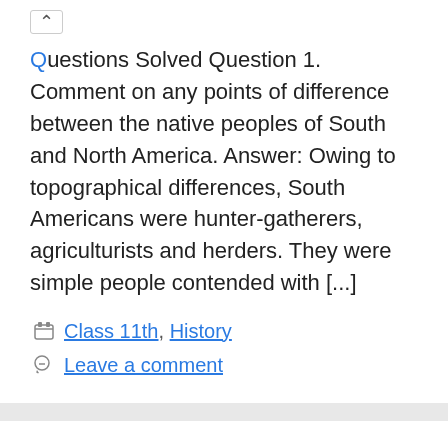Questions Solved Question 1. Comment on any points of difference between the native peoples of South and North America. Answer: Owing to topographical differences, South Americans were hunter-gatherers, agriculturists and herders. They were simple people contended with [...]
Class 11th, History
Leave a comment
NCERT Solutions for Class 11 History